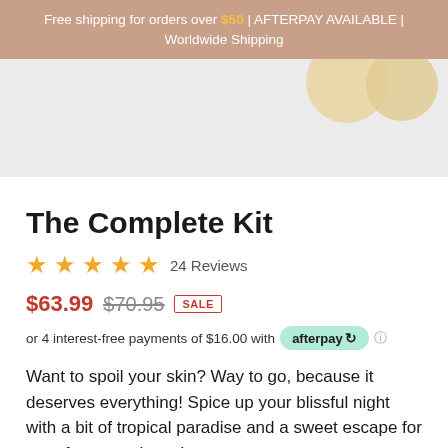Free shipping for orders over $50 | AFTERPAY AVAILABLE | Worldwide Shipping
[Figure (photo): Product image showing circular loofah/bath puffs on a light grey background]
The Complete Kit
★★★★★ 24 Reviews
$63.99  $70.95  SALE
or 4 interest-free payments of $16.00 with afterpay
Want to spoil your skin? Way to go, because it deserves everything! Spice up your blissful night with a bit of tropical paradise and a sweet escape for a perfect experience!